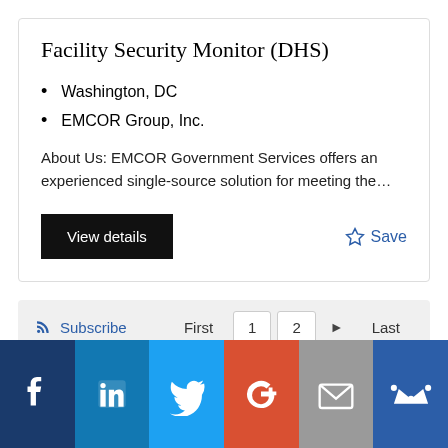Facility Security Monitor (DHS)
Washington, DC
EMCOR Group, Inc.
About Us: EMCOR Government Services offers an experienced single-source solution for meeting the…
[Figure (screenshot): View details button and Save star link]
[Figure (screenshot): Pagination bar with Subscribe link and page controls: First, 1, 2, arrow, Last]
[Figure (infographic): Social media footer icons: Facebook, LinkedIn, Twitter, Google+, Email, Crown/Mailchimp]